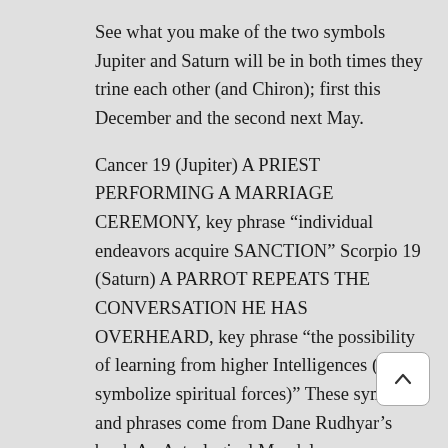See what you make of the two symbols Jupiter and Saturn will be in both times they trine each other (and Chiron); first this December and the second next May.
Cancer 19 (Jupiter) A PRIEST PERFORMING A MARRIAGE CEREMONY, key phrase “individual endeavors acquire SANCTION” Scorpio 19 (Saturn) A PARROT REPEATS THE CONVERSATION HE HAS OVERHEARD, key phrase “the possibility of learning from higher Intelligences (birds symbolize spiritual forces)” These symbols and phrases come from Dane Rudhyar’s book An Astrological Mandala